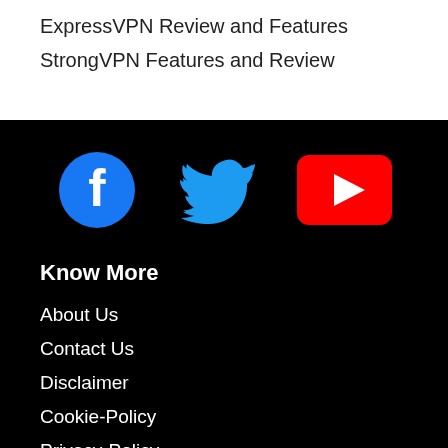ExpressVPN Review and Features
StrongVPN Features and Review
[Figure (other): Social media icons: Facebook (blue circle with f), Twitter (blue bird), YouTube (red rectangle with play button)]
Know More
About Us
Contact Us
Disclaimer
Cookie-Policy
Privacy-Policy